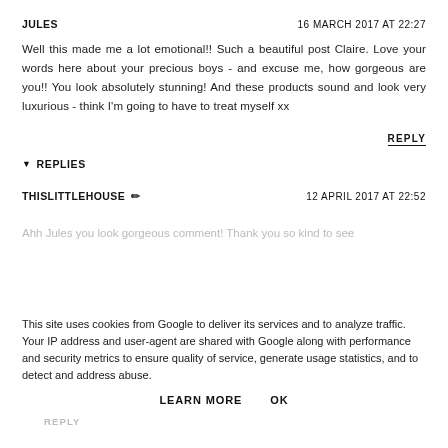JULES | 16 MARCH 2017 AT 22:27
Well this made me a lot emotional!! Such a beautiful post Claire. Love your words here about your precious boys - and excuse me, how gorgeous are you!! You look absolutely stunning! And these products sound and look very luxurious - think I'm going to have to treat myself xx
REPLY
▼ REPLIES
THISLITTLEHOUSE ✏ | 12 APRIL 2017 AT 22:52
Ahh Jules you look gorgeous comment! Thank you so kind to see...
This site uses cookies from Google to deliver its services and to analyze traffic. Your IP address and user-agent are shared with Google along with performance and security metrics to ensure quality of service, generate usage statistics, and to detect and address abuse.
LEARN MORE    OK
REPLY